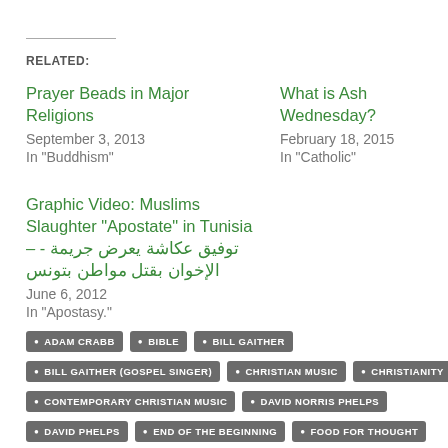RELATED:
Prayer Beads in Major Religions
September 3, 2013
In "Buddhism"
What is Ash Wednesday?
February 18, 2015
In "Catholic"
Graphic Video: Muslims Slaughter “Apostate” in Tunisia – توفيق عكاشة يعرض جريمة - الإخوان بقتل مواطن بتونس
June 6, 2012
In "Apostasy."
ADAM CRABB
BIBLE
BILL GAITHER
BILL GAITHER (GOSPEL SINGER)
CHRISTIAN MUSIC
CHRISTIANITY
CONTEMPORARY CHRISTIAN MUSIC
DAVID NORRIS PHELPS
DAVID PHELPS
END OF THE BEGINNING
FOOD FOR THOUGHT